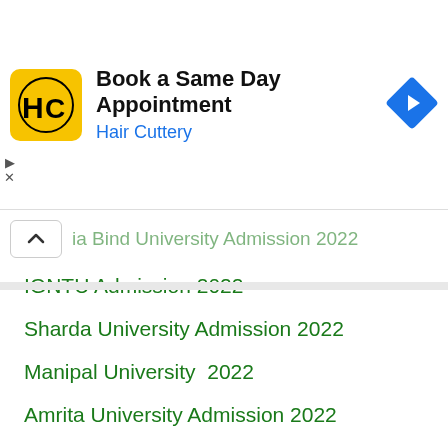[Figure (screenshot): Hair Cuttery advertisement banner: yellow square logo with HC letters, headline 'Book a Same Day Appointment', subtext 'Hair Cuttery' in blue, and a blue diamond navigation icon on the right]
la Bind University Admission 2022 (partially visible, cropped at top)
IGNTU Admission 2022
Sharda University Admission 2022
Manipal University  2022
Amrita University Admission 2022
Jain University Admission 2022